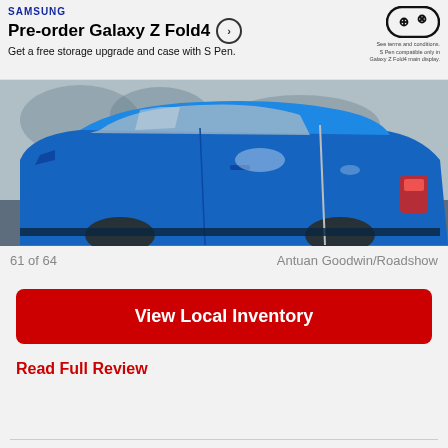[Figure (screenshot): Samsung advertisement banner for Pre-order Galaxy Z Fold4. Text: SAMSUNG. Pre-order Galaxy Z Fold4. Get a free storage upgrade and case with S Pen. Right side has a game controller icon and fine print.]
[Figure (photo): Close-up photograph of a blue car, showing the side profile with door handle, window, and tail light visible. Taken from a low angle with blurred background.]
61 of 64    Antuan Goodwin/Roadshow
View Local Inventory
Read Full Review